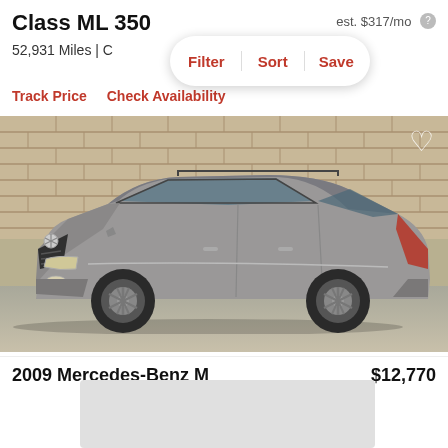Class ML 350
est. $317/mo
52,931 Miles | C
Filter  Sort  Save
Track Price   Check Availability
[Figure (photo): Silver/grey Mercedes-Benz ML 350 SUV parked in front of a brick wall, three-quarter front view]
2009 Mercedes-Benz M   $12,770